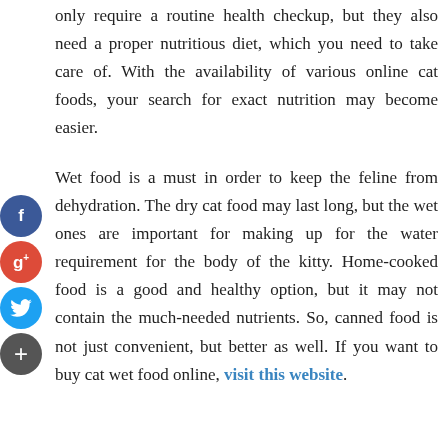only require a routine health checkup, but they also need a proper nutritious diet, which you need to take care of. With the availability of various online cat foods, your search for exact nutrition may become easier.
Wet food is a must in order to keep the feline from dehydration. The dry cat food may last long, but the wet ones are important for making up for the water requirement for the body of the kitty. Home-cooked food is a good and healthy option, but it may not contain the much-needed nutrients. So, canned food is not just convenient, but better as well. If you want to buy cat wet food online, visit this website.